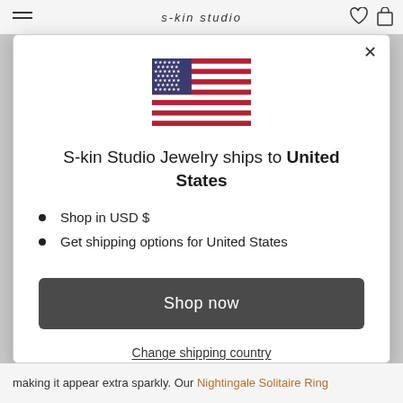s-kin studio
[Figure (illustration): US flag SVG illustration centered in modal]
S-kin Studio Jewelry ships to United States
Shop in USD $
Get shipping options for United States
Shop now
Change shipping country
making it appear extra sparkly. Our Nightingale Solitaire Ring features a round shape stone.